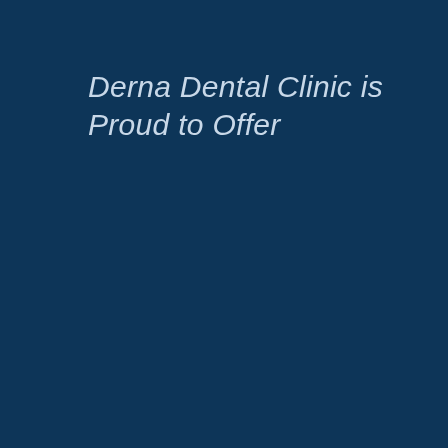Derna Dental Clinic is Proud to Offer